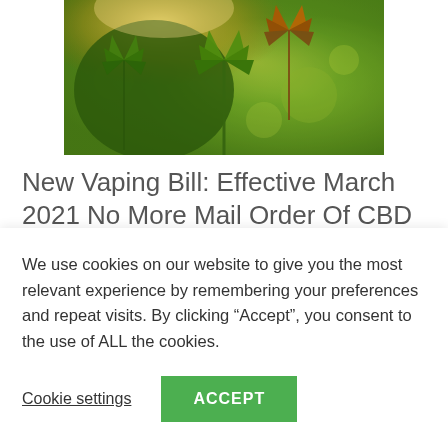[Figure (photo): Close-up photograph of cannabis leaves with green and orange coloring, sunlit background with bokeh effect]
New Vaping Bill: Effective March 2021 No More Mail Order Of CBD & Delta-8 THC Vape Carts
BREAKING: Due to the new vaping bill, in less than 90 days there will be no more mail order of CBD and Delta-8 THC
We use cookies on our website to give you the most relevant experience by remembering your preferences and repeat visits. By clicking “Accept”, you consent to the use of ALL the cookies.
Cookie settings
ACCEPT